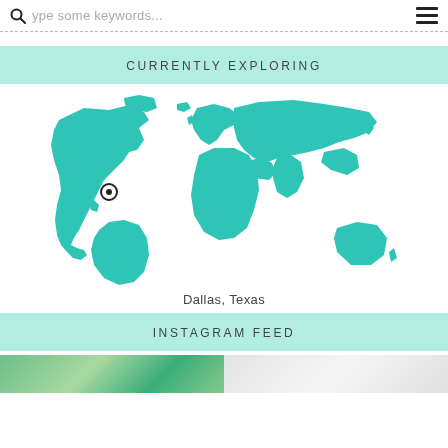Type some keywords...
CURRENTLY EXPLORING
[Figure (map): World map in teal/turquoise color with a location pin marker on Dallas, Texas, USA]
Dallas, Texas
INSTAGRAM FEED
[Figure (photo): Instagram feed photo tiles - left tile shows greenery/plants, right tile shows clothing items in white/grey]